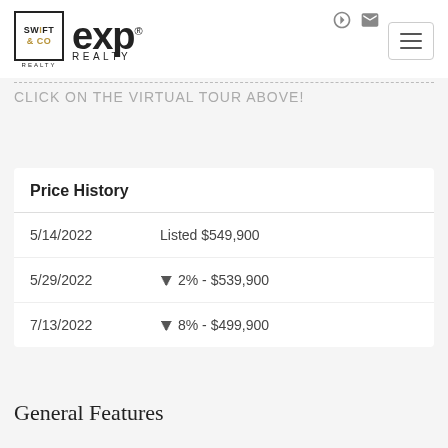[Figure (logo): Swift & Co Realty and eXp Realty logos side by side in header]
CLICK ON THE VIRTUAL TOUR ABOVE!
| Date | Event |
| --- | --- |
| 5/14/2022 | Listed $549,900 |
| 5/29/2022 | ▼ 2% - $539,900 |
| 7/13/2022 | ▼ 8% - $499,900 |
General Features